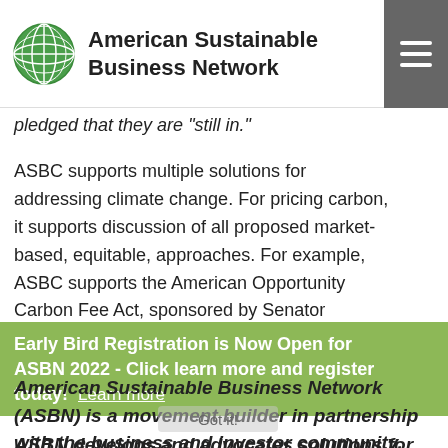American Sustainable Business Network
pledged that they are 'still in.'
ASBC supports multiple solutions for addressing climate change. For pricing carbon, it supports discussion of all proposed market-based, equitable, approaches. For example, ASBC supports the American Opportunity Carbon Fee Act, sponsored by Senator Sheldon Whitehouse, Senator Brian Schatz and others.

More about ASBC's climate campaigns may be found here.
Early Bird Registration is Now Open for ASBN 2022 - Click learn more and register today!  Learn more
American Sustainable Business Network (ASBN) is a movement builder in partnership with the business and investor community.
ASBN develops and advocates solutions for